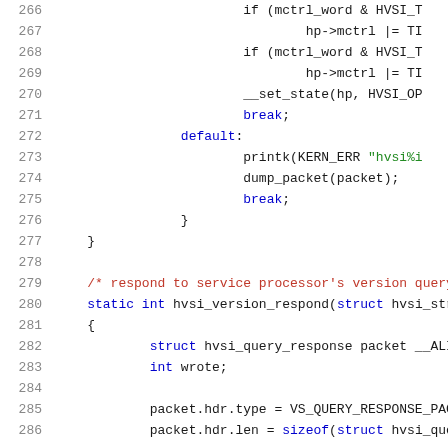[Figure (screenshot): Source code listing showing C code lines 266-286, syntax highlighted with line numbers on the left. Code includes if statements, break, default case, printk, dump_packet, closing braces, a comment about responding to service processor's version query, and a static function hvsi_version_respond.]